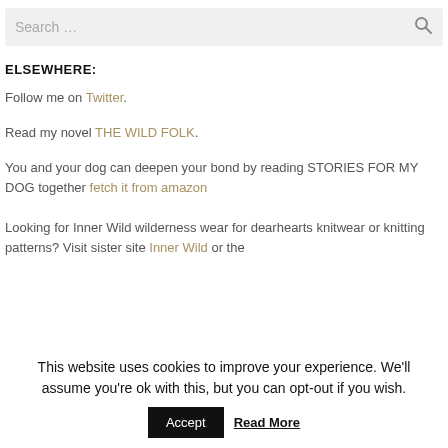Search ...
ELSEWHERE:
Follow me on Twitter.
Read my novel THE WILD FOLK.
You and your dog can deepen your bond by reading STORIES FOR MY DOG together fetch it from amazon
Looking for Inner Wild wilderness wear for dearhearts knitwear or knitting patterns? Visit sister site Inner Wild or the
This website uses cookies to improve your experience. We'll assume you're ok with this, but you can opt-out if you wish.
Accept
Read More